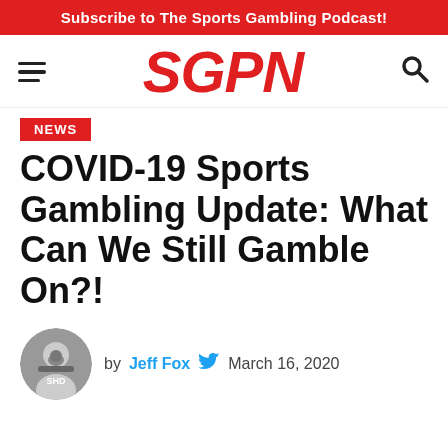Subscribe to The Sports Gambling Podcast!
[Figure (logo): SGPN logo in red bold italic text with hamburger menu on left and search icon on right]
NEWS
COVID-19 Sports Gambling Update: What Can We Still Gamble On?!
by Jeff Fox  March 16, 2020